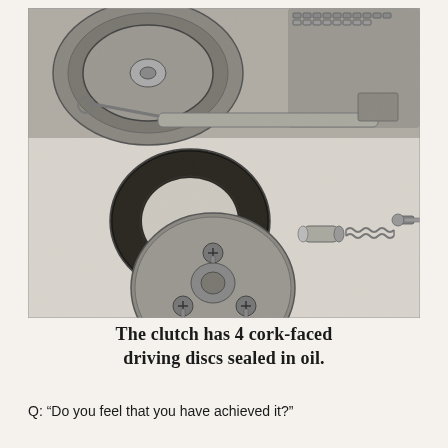[Figure (photo): Black and white photograph showing disassembled motorcycle clutch components laid out on a light surface. Top portion shows the clutch assembly still partially mounted on the engine with chain visible. Bottom portion shows individual components: a cork-faced clutch disc ring (dark annular ring), a round clutch pressure plate with three raised adjustment screws, and separate small parts including a cylindrical sleeve, a coil spring, and a small bolt/screw.]
The clutch has 4 cork-faced driving discs sealed in oil.
Q: “Do you feel that you have achieved it?”